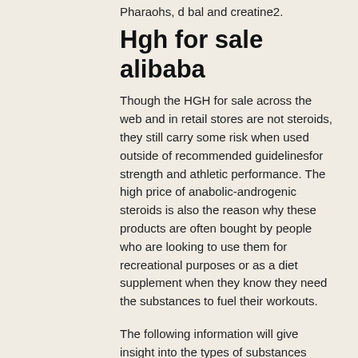Pharaohs, d bal and creatine2.
Hgh for sale alibaba
Though the HGH for sale across the web and in retail stores are not steroids, they still carry some risk when used outside of recommended guidelinesfor strength and athletic performance. The high price of anabolic-androgenic steroids is also the reason why these products are often bought by people who are looking to use them for recreational purposes or as a diet supplement when they know they need the substances to fuel their workouts.
The following information will give insight into the types of substances available on the internet and if these drugs are actually considered safe for human consumption and are being marketed for legitimate therapeutic purposes.